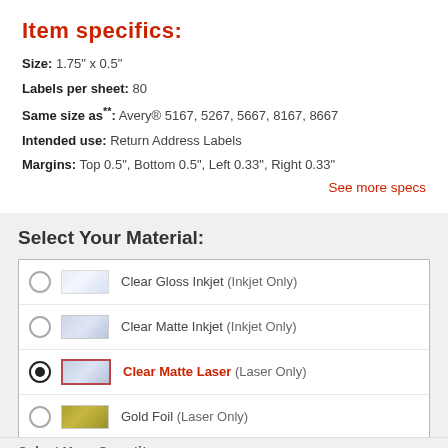Item specifics:
Size: 1.75" x 0.5"
Labels per sheet: 80
Same size as**: Avery® 5167, 5267, 5667, 8167, 8667
Intended use: Return Address Labels
Margins: Top 0.5", Bottom 0.5", Left 0.33", Right 0.33"
See more specs
Select Your Material:
Clear Gloss Inkjet (Inkjet Only)
Clear Matte Inkjet (Inkjet Only)
Clear Matte Laser (Laser Only) [selected]
Gold Foil (Laser Only)
Silver Foil (Laser Only)
Brown Kraft (Laser & Inkjet)
Select Your Quantity